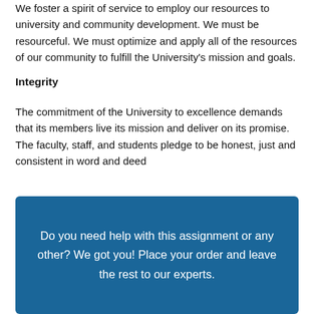We foster a spirit of service to employ our resources to university and community development. We must be resourceful. We must optimize and apply all of the resources of our community to fulfill the University's mission and goals.
Integrity
The commitment of the University to excellence demands that its members live its mission and deliver on its promise. The faculty, staff, and students pledge to be honest, just and consistent in word and deed
Do you need help with this assignment or any other? We got you! Place your order and leave the rest to our experts.